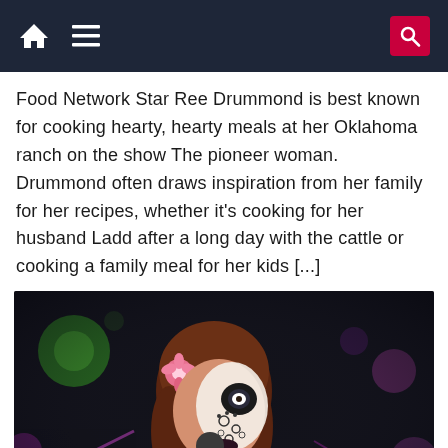Home | Menu | Search
Food Network Star Ree Drummond is best known for cooking hearty, hearty meals at her Oklahoma ranch on the show The pioneer woman. Drummond often draws inspiration from her family for her recipes, whether it's cooking for her husband Ladd after a long day with the cattle or cooking a family meal for her kids [...]
[Figure (photo): A woman with Day of the Dead face paint and a pink flower in her hair, wearing black, holding a championship belt and a microphone branded with 'tbs' and 'AEW' logos, in a dark arena with colorful lights. A 'CB INTERVIEW' badge is visible in the lower left corner.]